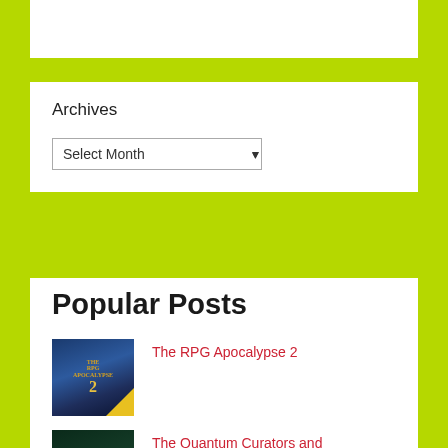Archives
Select Month
Popular Posts
[Figure (illustration): Book cover for The RPG Apocalypse 2 showing fantasy artwork with blue tones and gold text]
The RPG Apocalypse 2
[Figure (illustration): Book cover for The Quantum Curators and the Missing Codex showing green tones with atomic symbol]
The Quantum Curators and the Missing Codex